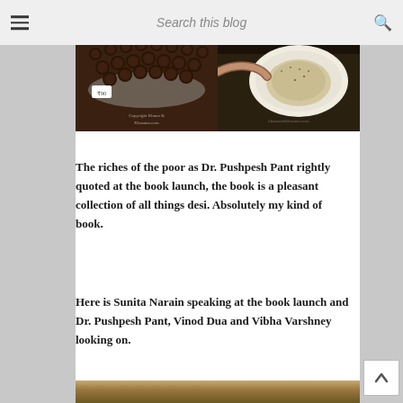Search this blog
[Figure (photo): Two food photos side by side: left shows chocolate balls/truffles on a silver tray, right shows a dish being served on a plate in dim lighting.]
The riches of the poor as Dr. Pushpesh Pant rightly quoted at the book launch, the book is a pleasant collection of all things desi. Absolutely my kind of book.
Here is Sunita Narain speaking at the book launch and Dr. Pushpesh Pant, Vinod Dua and Vibha Varshney looking on.
[Figure (photo): Partial view of another photo at the bottom of the page, showing what appears to be a wooden interior or furniture.]